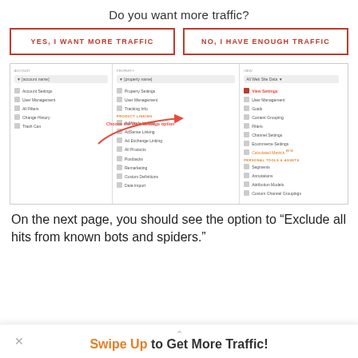Do you want more traffic?
YES, I WANT MORE TRAFFIC
NO, I HAVE ENOUGH TRAFFIC
[Figure (screenshot): Google Analytics admin panel screenshot showing Account, Property, and View columns. A red arrow points to 'View Settings' option. Text annotation reads 'Choose the View Settings option'.]
On the next page, you should see the option to “Exclude all hits from known bots and spiders.”
Swipe Up to Get More Traffic!